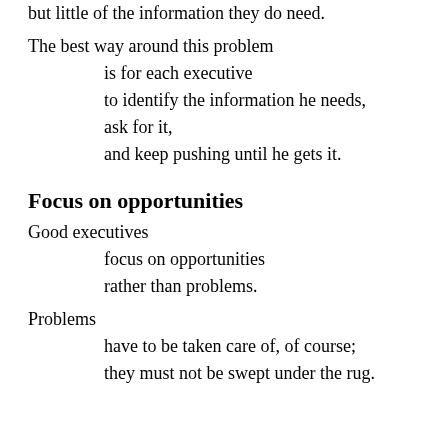but little of the information they do need.
The best way around this problem
is for each executive
to identify the information he needs,
ask for it,
and keep pushing until he gets it.
Focus on opportunities
Good executives
focus on opportunities
rather than problems.
Problems
have to be taken care of, of course;
they must not be swept under the rug.